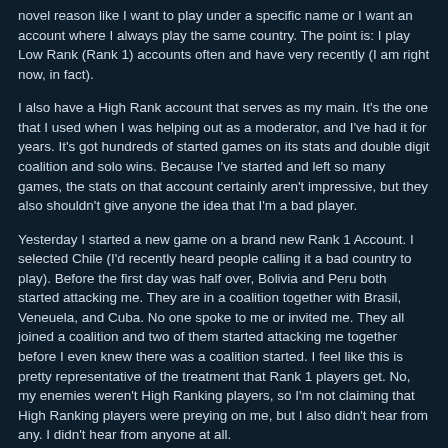novel reason like I want to play under a specific name or I want an account where I always play the same country. The point is: I play Low Rank (Rank 1) accounts often and have very recently (I am right now, in fact).
I also have a High Rank account that serves as my main. It's the one that I used when I was helping out as a moderator, and I've had it for years. It's got hundreds of started games on its stats and double digit coalition and solo wins. Because I've started and left so many games, the stats on that account certainly aren't impressive, but they also shouldn't give anyone the idea that I'm a bad player.
Yesterday I started a new game on a brand new Rank 1 Account. I selected Chile (I'd recently heard people calling it a bad country to play). Before the first day was half over, Bolivia and Peru both started attacking me. They are in a coalition together with Brasil, Veneuela, and Cuba. No one spoke to me or invited me. They all joined a coalition and two of them started attacking me together before I even knew there was a coalition started. I feel like this is pretty representative of the treatment that Rank 1 players get. No, my enemies weren't High Ranking players, so I'm not claiming that High Ranking players were preying on me, but I also didn't hear from any. I didn't hear from anyone at all.
A couple of days ago I started a game with my High Rank account. I didn't